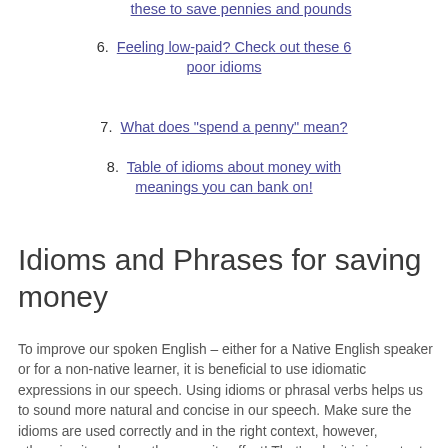these to save pennies and pounds
6. Feeling low-paid? Check out these 6 poor idioms
7. What does "spend a penny" mean?
8. Table of idioms about money with meanings you can bank on!
Idioms and Phrases for saving money
To improve our spoken English – either for a Native English speaker or for a non-native learner, it is beneficial to use idiomatic expressions in our speech. Using idioms or phrasal verbs helps us to sound more natural and concise in our speech. Make sure the idioms are used correctly and in the right context, however, otherwise it can have the opposite effect! That’s why it is important to